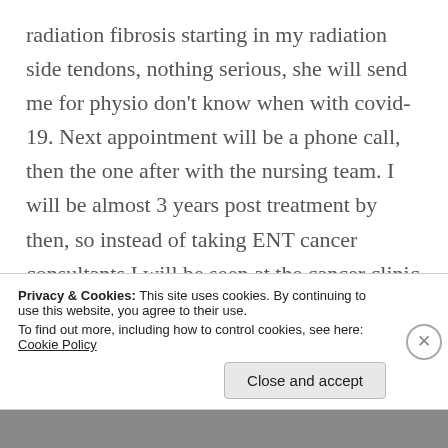radiation fibrosis starting in my radiation side tendons, nothing serious, she will send me for physio don't know when with covid-19. Next appointment will be a phone call, then the one after with the nursing team. I will be almost 3 years post treatment by then, so instead of taking ENT cancer consultants I will be seen at the cancer clinic so the consultants will be in the vicinity if I have any issues. Of course the conversation ended with any problems please get straight in touch the NHS is ready and waiting don't delay in contacting. So
Privacy & Cookies: This site uses cookies. By continuing to use this website, you agree to their use.
To find out more, including how to control cookies, see here: Cookie Policy